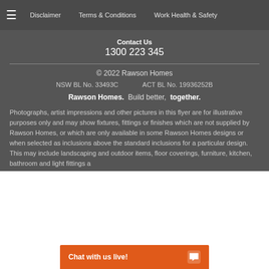☰  Disclaimer  Terms & Conditions  Work Health & Safety
Contact Us
1300 223 345
© 2022 Rawson Homes
NSW BL No. 33493C    ACT BL No. 19936252B
Rawson Homes.  Build better,  together.
Photographs, artist impressions and other pictures in this flyer are for illustrative purposes only and may show fixtures, fittings or finishes which are not supplied by Rawson Homes, or which are only available in some Rawson Homes designs or when selected as inclusions above the standard inclusions for a particular design. This may include landscaping and outdoor items, floor coverings, furniture, kitchen, bathroom and light fittings a…